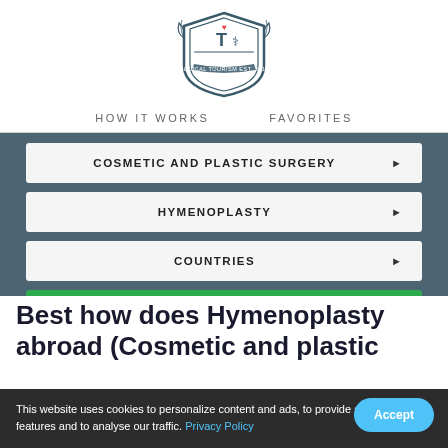[Figure (logo): Medical Tourism website crest/shield logo with T symbol, caduceus, heart, laurel leaves, and banner reading MEDICAL TOURISM EST. 2015]
HOW IT WORKS    FAVORITES
COSMETIC AND PLASTIC SURGERY ▶
HYMENOPLASTY ▶
COUNTRIES ▶
SEARCH ▶
This website uses cookies to personalize content and ads, to provide social media features and to analyse our traffic. Privacy Policy
Best how does Hymenoplasty abroad (Cosmetic and plastic